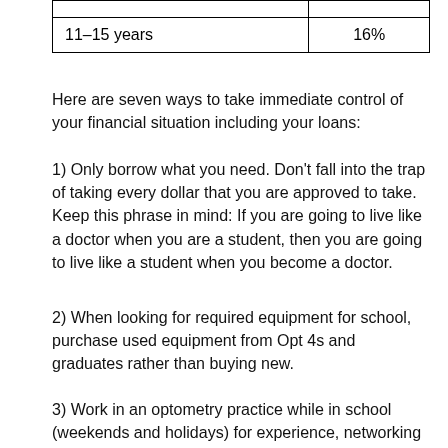| 11–15 years | 16% |
Here are seven ways to take immediate control of your financial situation including your loans:
1) Only borrow what you need. Don't fall into the trap of taking every dollar that you are approved to take. Keep this phrase in mind: If you are going to live like a doctor when you are a student, then you are going to live like a student when you become a doctor.
2) When looking for required equipment for school, purchase used equipment from Opt 4s and graduates rather than buying new.
3) Work in an optometry practice while in school (weekends and holidays) for experience, networking and income.